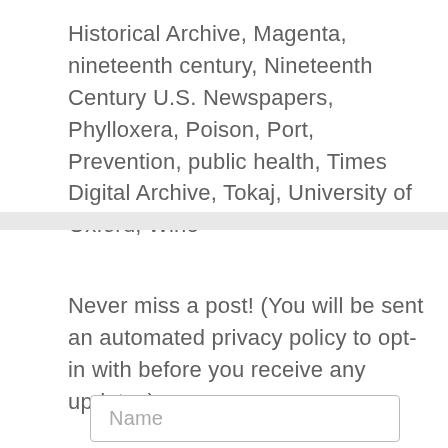Historical Archive, Magenta, nineteenth century, Nineteenth Century U.S. Newspapers, Phylloxera, Poison, Port, Prevention, public health, Times Digital Archive, Tokaj, University of Oxford, Wine
Never miss a post! (You will be sent an automated privacy policy to opt-in with before you receive any updates).